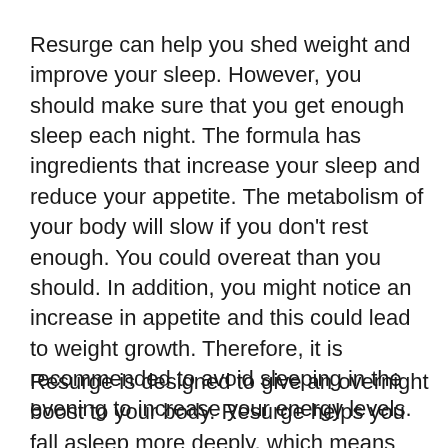Resurge can help you shed weight and improve your sleep. However, you should make sure that you get enough sleep each night. The formula has ingredients that increase your sleep and reduce your appetite. The metabolism of your body will slow if you don't rest enough. You could overeat than you should. In addition, you might notice an increase in appetite and this could lead to weight growth. Therefore, it is recommended to avoid sleeping in the evening to increase your energy levels.
Resurge is designed to give an overnight boost to your body. Resurge helps you fall asleep more deeply, which means you'll wake up feeling more energetic than the day…